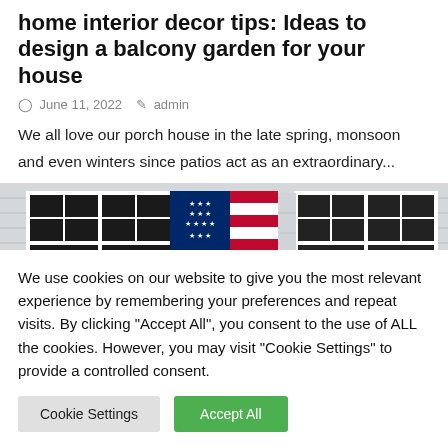home interior decor tips: Ideas to design a balcony garden for your house
June 11, 2022   admin
We all love our porch house in the late spring, monsoon and even winters since patios act as an extraordinary...
[Figure (photo): Photo of a white house exterior with an American flag (Betsy Ross style) hanging between windows]
We use cookies on our website to give you the most relevant experience by remembering your preferences and repeat visits. By clicking "Accept All", you consent to the use of ALL the cookies. However, you may visit "Cookie Settings" to provide a controlled consent.